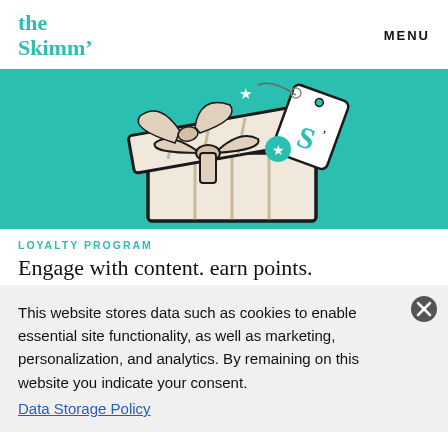the Skimm' | MENU
[Figure (illustration): Illustration on teal/green background showing an open gift box with a cream/beige ribbon and lid floating above, with a gift tag featuring the Skimm 'S' logo, and teal star icons scattered around.]
LOYALTY PROGRAM
Engage with content. earn points.
This website stores data such as cookies to enable essential site functionality, as well as marketing, personalization, and analytics. By remaining on this website you indicate your consent.
Data Storage Policy